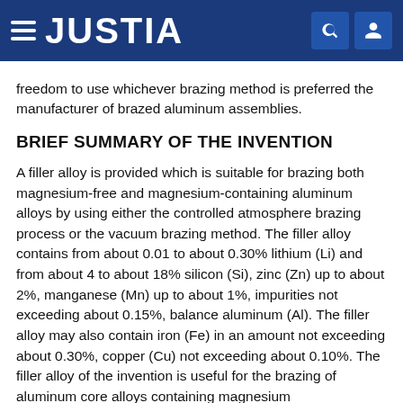JUSTIA
freedom to use whichever brazing method is preferred the manufacturer of brazed aluminum assemblies.
BRIEF SUMMARY OF THE INVENTION
A filler alloy is provided which is suitable for brazing both magnesium-free and magnesium-containing aluminum alloys by using either the controlled atmosphere brazing process or the vacuum brazing method. The filler alloy contains from about 0.01 to about 0.30% lithium (Li) and from about 4 to about 18% silicon (Si), zinc (Zn) up to about 2%, manganese (Mn) up to about 1%, impurities not exceeding about 0.15%, balance aluminum (Al). The filler alloy may also contain iron (Fe) in an amount not exceeding about 0.30%, copper (Cu) not exceeding about 0.10%. The filler alloy of the invention is useful for the brazing of aluminum core alloys containing magnesium